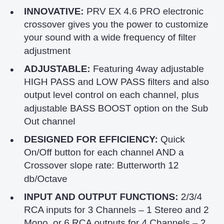INNOVATIVE: PRV EX 4.6 PRO electronic crossover gives you the power to customize your sound with a wide frequency of filter adjustment
ADJUSTABLE: Featuring 4way adjustable HIGH PASS and LOW PASS filters and also output level control on each channel, plus adjustable BASS BOOST option on the Sub Out channel
DESIGNED FOR EFFICIENCY: Quick On/Off button for each channel AND a Crossover slope rate: Butterworth 12 db/Octave
INPUT AND OUTPUT FUNCTIONS: 2/3/4 RCA inputs for 3 Channels – 1 Stereo and 2 Mono, or 6 RCA outputs for 4 Channels – 2 Stereo and 2 Mono
UPGRADE TODAY, HEAR THE